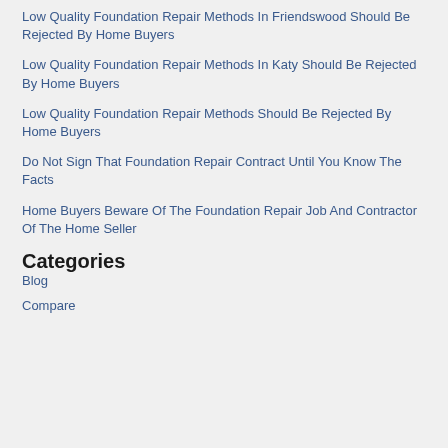Low Quality Foundation Repair Methods In Friendswood Should Be Rejected By Home Buyers
Low Quality Foundation Repair Methods In Katy Should Be Rejected By Home Buyers
Low Quality Foundation Repair Methods Should Be Rejected By Home Buyers
Do Not Sign That Foundation Repair Contract Until You Know The Facts
Home Buyers Beware Of The Foundation Repair Job And Contractor Of The Home Seller
Categories
Blog
Compare